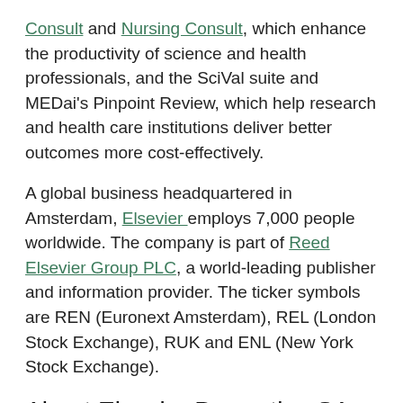Consult and Nursing Consult, which enhance the productivity of science and health professionals, and the SciVal suite and MEDai's Pinpoint Review, which help research and health care institutions deliver better outcomes more cost-effectively.
A global business headquartered in Amsterdam, Elsevier employs 7,000 people worldwide. The company is part of Reed Elsevier Group PLC, a world-leading publisher and information provider. The ticker symbols are REN (Euronext Amsterdam), REL (London Stock Exchange), RUK and ENL (New York Stock Exchange).
About Elsevier Properties SA
Elsevier Properties SA since 2007 has been the owner of